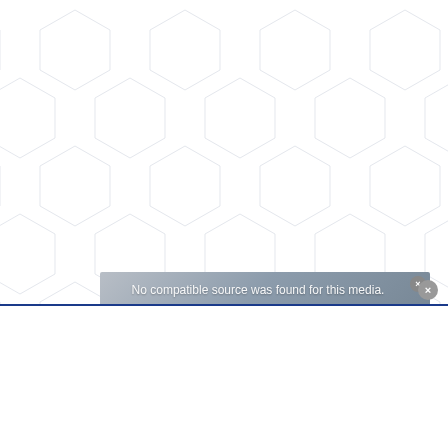[Figure (screenshot): Webpage background with a hexagonal grid pattern in light gray on white. An advertisement overlay shows a Samsung Galaxy Watch ad with a gray gradient background, the text 'No compatible source was found for this media.' in white, 'SAMSUNG' logo, 'GALAXY WATCH' text in dark bold, an X close button, and a Samsung product image (earbuds). A horizontal blue border bar separates the ad area from a white content area below. A circular close button (X) appears at bottom right.]